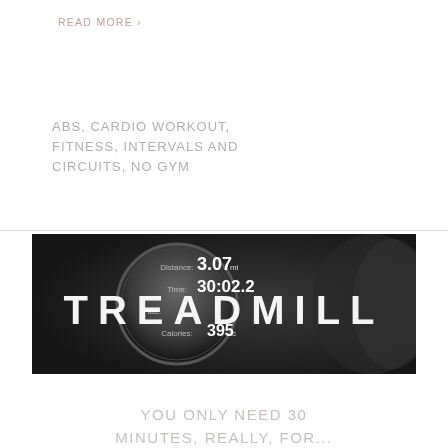READ MORE ›
ABS, CARDIO WORKOUT, FITNESS, INTERVALS AND CIRCUITS, NO GYM
[Figure (photo): Black and white photo of a GPS watch showing Distance: 3.07 mi, Time: 30:02.2, Calories: 395c, with large white bold text overlay reading TREADMILL]
YOU ONLY NEED 30 MINUTES, REALLY, FOR...